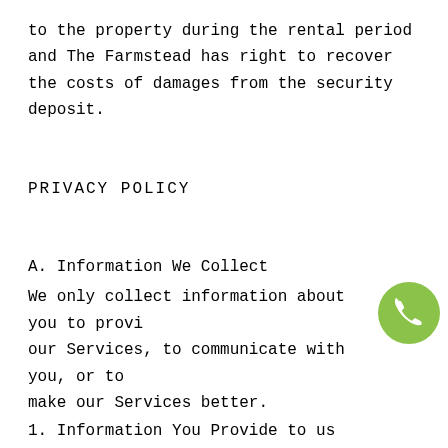to the property during the rental period and The Farmstead has right to recover the costs of damages from the security deposit.
PRIVACY POLICY
A. Information We Collect
We only collect information about you to provi our Services, to communicate with you, or to make our Services better.
1. Information You Provide to us